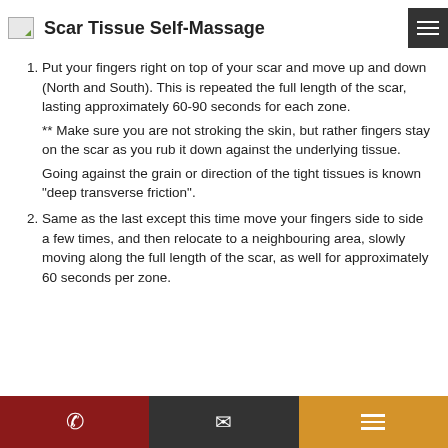Scar Tissue Self-Massage
Put your fingers right on top of your scar and move up and down (North and South).  This is repeated the full length of the scar, lasting approximately 60-90 seconds for each zone.
** Make sure you are not stroking the skin, but rather fingers stay on the scar as you rub it down against the underlying tissue.
Going against the grain or direction of the tight tissues is known “deep transverse friction”.
Same as the last except this time move your fingers side to side a few times, and then relocate to a neighbouring area, slowly moving along the full length of the scar, as well for approximately 60 seconds per zone.
Phone | Email | Menu